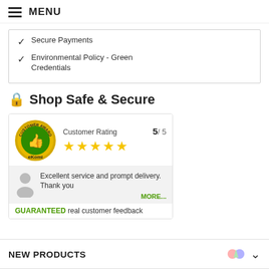MENU
Secure Payments
Environmental Policy - Green Credentials
Shop Safe & Secure
[Figure (infographic): eKomi Customer Award badge with thumbs up, Customer Rating 5/5, five gold stars, review text 'Excellent service and prompt delivery. Thank you', MORE... link, GUARANTEED real customer feedback]
NEW PRODUCTS